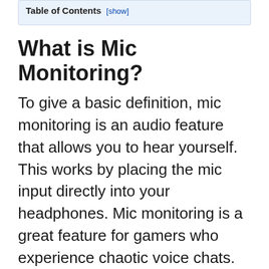Table of Contents [show]
What is Mic Monitoring?
To give a basic definition, mic monitoring is an audio feature that allows you to hear yourself. This works by placing the mic input directly into your headphones. Mic monitoring is a great feature for gamers who experience chaotic voice chats. In addition, it is good for people who receive constant calls at work.
However, it's not limited to those two